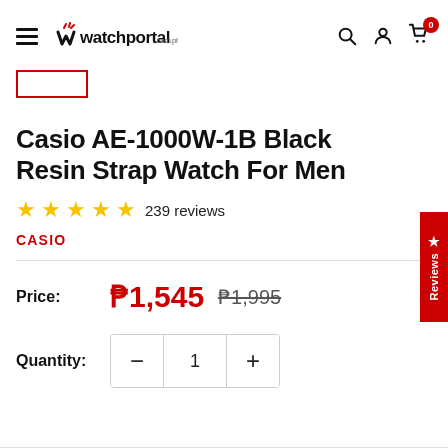watchportal.com.ph — navigation header with hamburger menu, logo, search, account, and cart icons
[Figure (screenshot): Red rectangular breadcrumb/back button outline]
Casio AE-1000W-1B Black Resin Strap Watch For Men
★★★★★ 239 reviews
CASIO
Price: ₱1,545  ₱1,995
Quantity: 1